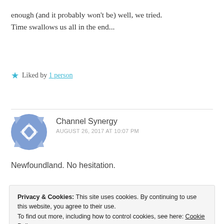enough (and it probably won't be) well, we tried. Time swallows us all in the end...
★ Liked by 1 person
Channel Synergy
AUGUST 26, 2017 AT 10:07 PM
Newfoundland. No hesitation.
Privacy & Cookies: This site uses cookies. By continuing to use this website, you agree to their use.
To find out more, including how to control cookies, see here: Cookie Policy
Close and accept